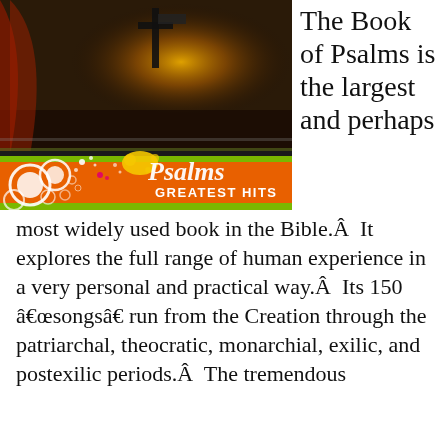[Figure (illustration): Book cover image for 'Psalms Greatest Hits'. Top half shows a dark dramatic sky with a cross silhouette and glowing yellow light. Bottom half features an orange banner with decorative circles and the stylized text 'Psalms Greatest Hits'.]
The Book of Psalms is the largest and perhaps most widely used book in the Bible.Â  It explores the full range of human experience in a very personal and practical way.Â  Its 150 â€œsongsâ€ run from the Creation through the patriarchal, theocratic, monarchial, exilic, and postexilic periods.Â  The tremendous